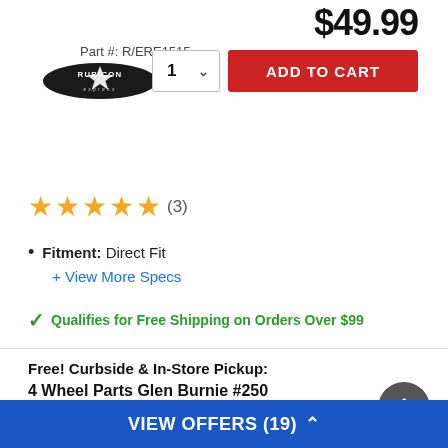$49.99
Part #: R/ERE1515
[Figure (logo): Rubicon Express logo – black oval with star and stylized text]
1 (quantity selector) ADD TO CART
★★★★★ (3)
Fitment: Direct Fit
+ View More Specs
✓ Qualifies for Free Shipping on Orders Over $99
Free! Curbside & In-Store Pickup:
4 Wheel Parts Glen Burnie #250
Low Inventory, Call to Check Availability
View Other Stores
VIEW OFFERS (19) ▲